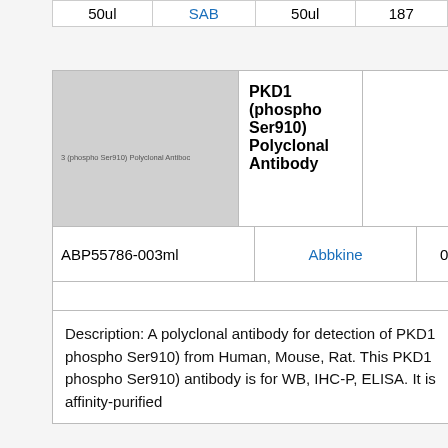| 50ul | SAB | 50ul | 187 |
[Figure (photo): Product image placeholder for PKD1 (phospho Ser910) Polyclonal Antibody, gray background with faint text label]
| PKD1 (phospho Ser910) Polyclonal Antibody |  |  |
| ABP55786-003ml | Abbkine | 0.03ml | EUR 158 |
|  |  |  |  |
Description: A polyclonal antibody for detection of PKD1 phospho Ser910) from Human, Mouse, Rat. This PKD1 phospho Ser910) antibody is for WB, IHC-P, ELISA. It is affinity-purified